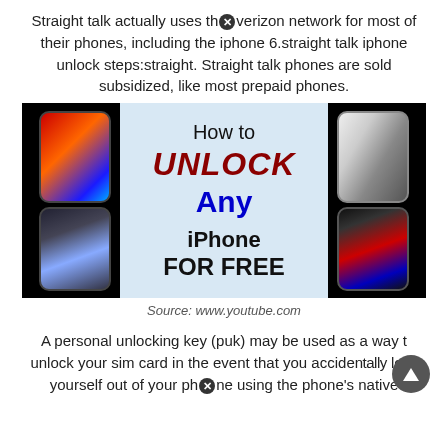Straight talk actually uses the verizon network for most of their phones, including the iphone 6.straight talk iphone unlock steps:straight. Straight talk phones are sold subsidized, like most prepaid phones.
[Figure (screenshot): YouTube thumbnail showing 'How to UNLOCK Any iPhone FOR FREE' with multiple iPhones displayed on left and right sides against a black background with light blue center panel.]
Source: www.youtube.com
A personal unlocking key (puk) may be used as a way to unlock your sim card in the event that you accidentally lock yourself out of your phone using the phone's native